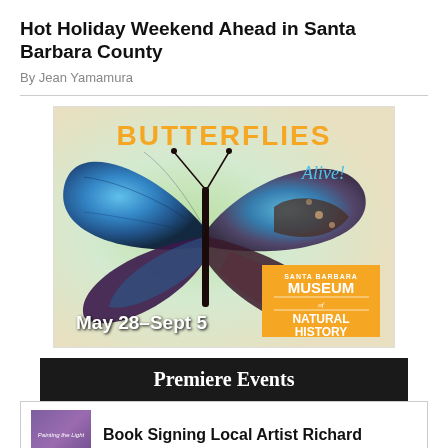Hot Holiday Weekend Ahead in Santa Barbara County
By Jean Yamamura
[Figure (illustration): Butterflies Alive! advertisement for Santa Barbara Museum of Natural History. Shows a large blue morpho butterfly with text 'BUTTERFLIES Alive!' in orange and teal. Dates: May 28–Sept 5.]
Premiere Events
Book Signing Local Artist Richard